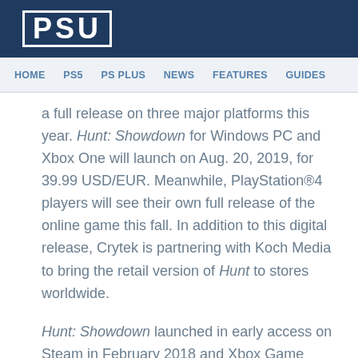PSU
HOME   PS5   PS PLUS   NEWS   FEATURES   GUIDES
a full release on three major platforms this year. Hunt: Showdown for Windows PC and Xbox One will launch on Aug. 20, 2019, for 39.99 USD/EUR. Meanwhile, PlayStation®4 players will see their own full release of the online game this fall. In addition to this digital release, Crytek is partnering with Koch Media to bring the retail version of Hunt to stores worldwide.
Hunt: Showdown launched in early access on Steam in February 2018 and Xbox Game Preview in May 2019. Both platforms allowed the Hunt team the unique opportunity to front a